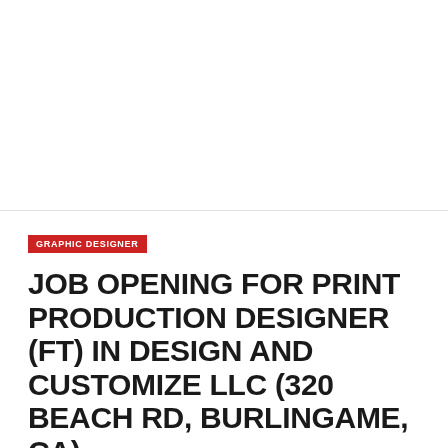GRAPHIC DESIGNER
JOB OPENING FOR PRINT PRODUCTION DESIGNER (FT) IN DESIGN AND CUSTOMIZE LLC (320 BEACH RD, BURLINGAME, CA)